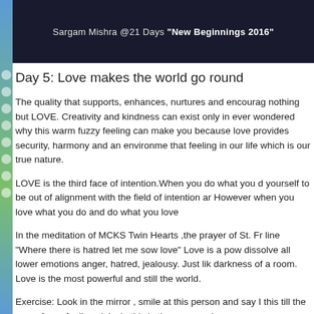[Figure (photo): Dark background header image with text: Sargam Mishra @21 Days "New Beginnings 2016"]
Day 5: Love makes the world go round
The quality that supports, enhances, nurtures and encourages nothing but LOVE. Creativity and kindness can exist only in... ever wondered why this warm fuzzy feeling can make you ... because love provides security, harmony and an environment... that feeling in our life which is our true nature.
LOVE is the third face of intention.When you do what you do... yourself to be out of alignment with the field of intention and... However when you love what you do and do what you love...
In the meditation of MCKS Twin Hearts ,the prayer of St. Fra... line "Where there is hatred let me sow love" Love is a power... dissolve all lower emotions anger, hatred, jealousy. Just like... darkness of a room. Love is the most powerful and still the... world.
Exercise: Look in the mirror , smile at this person and say I... this till the warm fuzzy feeling sinks in this is the person wh...
Please join for the Tuesday gratitude meditation http://...